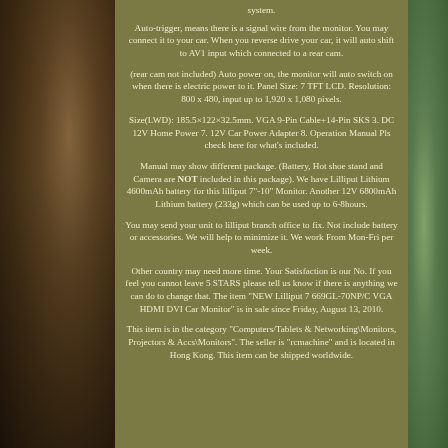system.
Auto-trigger, means there is a signal wire from the monitor. You may connect it to your car. When you reverse drive your car, it will auto shift to AV1 input which connected to a rear cam.
(rear cam not included) Auto power on, the monitor will auto switch on when there is electric power to it. Panel Size: 7 TFT LCD. Resolution: 800 x 480, input up to 1,920 x 1,080 pixels.
Size(LWD): 185.5×122×32.5mm. VGA 9-Pin Cable+14-Pin SKS 3. DC 12V Home Power 7. 12V Car Power Adapter 8. Operation Manual Pls check here for what's included.
Manual may show different package. (Battery, Hot shoe stand and Camera are NOT included in this package). We have Lilliput Lithium 4600mAh battery for this lilliput 7"-10" Monitor. Another 12V 6800mAh Lithium battery (233g) which can be used up to 6-8hours.
You may send your unit to lilliput branch office to fix. Not include battery or accessories. We will help to minimize it. We work From Mon-Fri per week.
Other country may need more time. Your Satisfaction is our No. If you feel you cannot leave 5 STARS please tell us know if there is anything we can do to change that. The item "NEW Lilliput 7 669GL-70NP/C VGA HDMI DVI Car Monitor" is in sale since Friday, August 13, 2010.
This item is in the category "Computers/Tablets & Networking\Monitors, Projectors & Accs\Monitors". The seller is "rcmachine" and is located in Hong Kong. This item can be shipped worldwide.